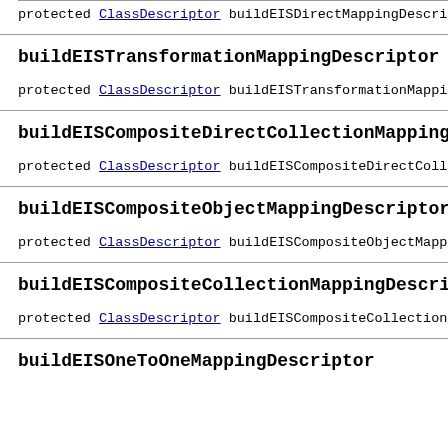protected ClassDescriptor buildEISDirectMappingDescriptor
buildEISTransformationMappingDescriptor
protected ClassDescriptor buildEISTransformationMappingDescriptor
buildEISCompositeDirectCollectionMappingDescriptor
protected ClassDescriptor buildEISCompositeDirectCollectionMappingDescriptor
buildEISCompositeObjectMappingDescriptor
protected ClassDescriptor buildEISCompositeObjectMappingDescriptor
buildEISCompositeCollectionMappingDescriptor
protected ClassDescriptor buildEISCompositeCollectionMappingDescriptor
buildEISOneToOneMappingDescriptor